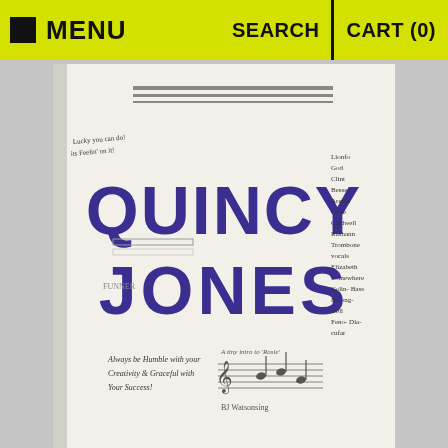MENU  SEARCH  CART (0)
[Figure (photo): Book cover of Quincy Jones with large purple block letter title 'QUINCY JONES' on cream background with handwritten notes and musical notation]
$26.00
JOIN THE CLUB, SUBSCRIBE TO OUR NEWSLETTER: ENTER YOUR EMAIL